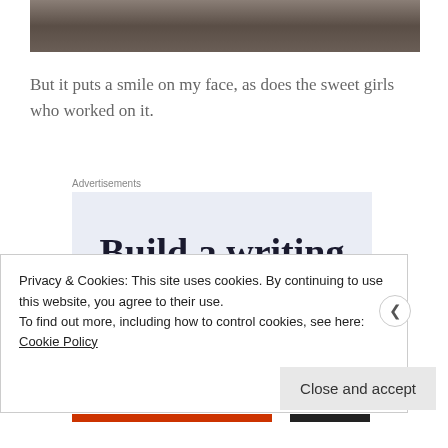[Figure (photo): Partial view of a room interior, possibly showing a fireplace or tiled floor area, cropped at top.]
But it puts a smile on my face, as does the sweet girls who worked on it.
Advertisements
[Figure (infographic): Advertisement with large serif text reading 'Build a writing habit. Post on' on a light blue-gray background.]
Privacy & Cookies: This site uses cookies. By continuing to use this website, you agree to their use.
To find out more, including how to control cookies, see here: Cookie Policy
Close and accept